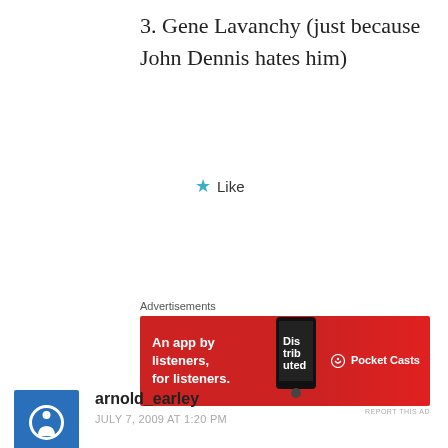3. Gene Lavanchy (just because John Dennis hates him)
★ Like
Advertisements
[Figure (other): Advertisement banner for Pocket Casts app: red background with phone image showing 'Distributed' text, white text 'An app by listeners, for listeners.' and Pocket Casts logo on right]
REPORT THIS AD
arnold_earley
JULY 7, 2009 AT 1:20 PM
Without question, it's Butch Stearns.
This man proves that America is the greatest nation on earth. Can anyone name another country in which this